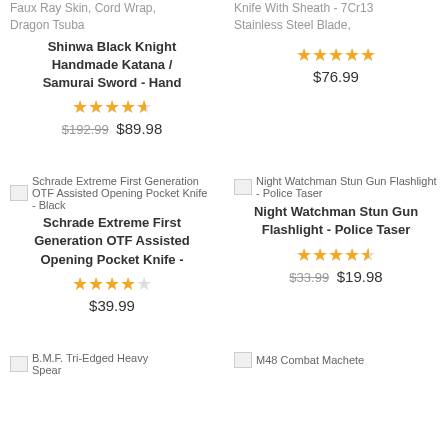Faux Ray Skin, Cord Wrap, Dragon Tsuba
Knife With Sheath - 7Cr13 Stainless Steel Blade,
Shinwa Black Knight Handmade Katana / Samurai Sword - Hand
★★★★★ $76.99
★★★★☆ $192.99 $89.98
Schrade Extreme First Generation OTF Assisted Opening Pocket Knife - Black
Night Watchman Stun Gun Flashlight - Police Taser
Schrade Extreme First Generation OTF Assisted Opening Pocket Knife -
Night Watchman Stun Gun Flashlight - Police Taser
★★★★☆ $39.99
★★★★☆ $33.99 $19.98
B.M.F. Tri-Edged Heavy Spear
M48 Combat Machete